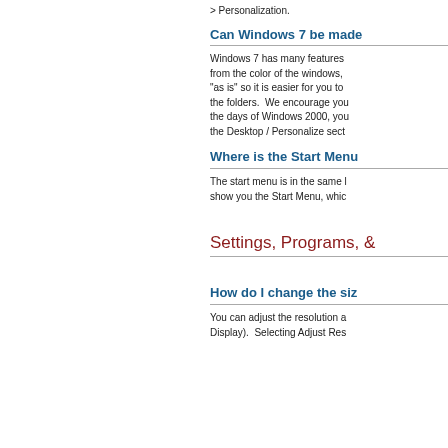> Personalization.
Can Windows 7 be made
Windows 7 has many features from the color of the windows, "as is" so it is easier for you to the folders.  We encourage you the days of Windows 2000, you the Desktop / Personalize sect
Where is the Start Menu
The start menu is in the same l show you the Start Menu, whic
Settings, Programs, &
How do I change the siz
You can adjust the resolution a Display).  Selecting Adjust Res